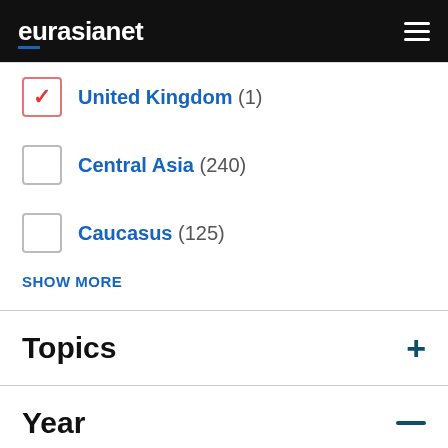eurasianet
United Kingdom (1)
Central Asia (240)
Caucasus (125)
SHOW MORE
Topics
Year
2020 (155)